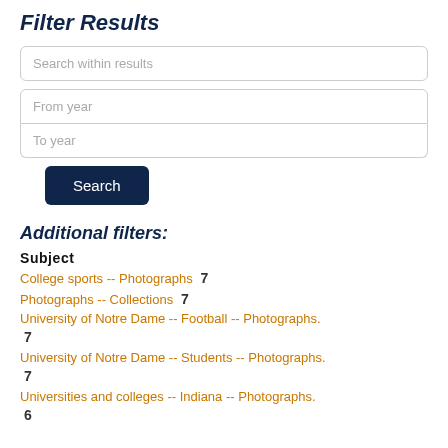Filter Results
Search within results
From year
To year
Search
Additional filters:
Subject
College sports -- Photographs  7
Photographs -- Collections  7
University of Notre Dame -- Football -- Photographs.  7
University of Notre Dame -- Students -- Photographs.  7
Universities and colleges -- Indiana -- Photographs.  6